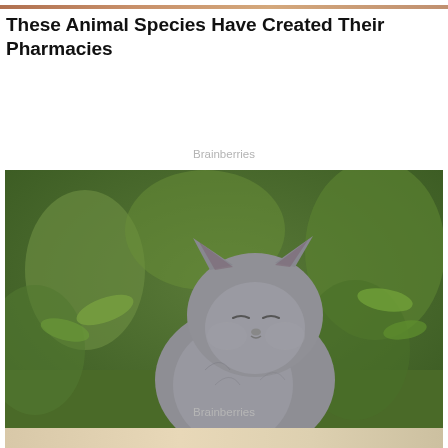[Figure (photo): Top cropped portion of an image visible at the very top of the page, showing warm brown/orange tones]
These Animal Species Have Created Their Pharmacies
Brainberries
[Figure (photo): A grey British Shorthair cat sitting outdoors in a garden with green leafy plants in the background. The cat has its eyes nearly closed and face tilted upward with a serene expression.]
A Gentle Giant In The Domesticated Cat World
Brainberries
[Figure (photo): Bottom portion of another image partially visible at the bottom of the page, showing beige/cream tones]